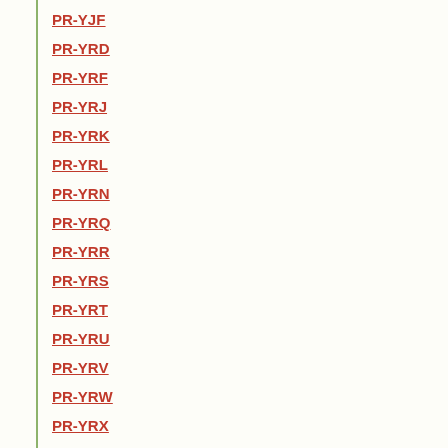PR-YJF
PR-YRD
PR-YRF
PR-YRJ
PR-YRK
PR-YRL
PR-YRN
PR-YRQ
PR-YRR
PR-YRS
PR-YRT
PR-YRU
PR-YRV
PR-YRW
PR-YRX